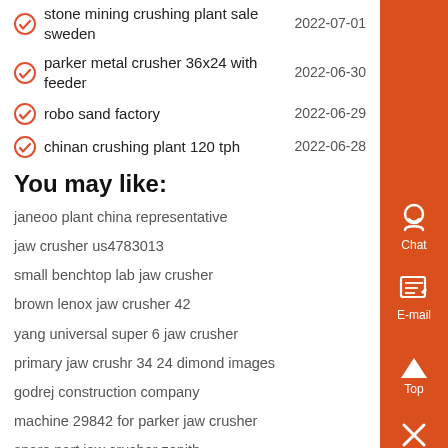stone mining crushing plant sale sweden    2022-07-01
parker metal crusher 36x24 with feeder    2022-06-30
robo sand factory    2022-06-29
chinan crushing plant 120 tph    2022-06-28
You may like:
janeoo plant china representative
jaw crusher us4783013
small benchtop lab jaw crusher
brown lenox jaw crusher 42
yang universal super 6 jaw crusher
primary jaw crushr 34 24 dimond images
godrej construction company
machine 29842 for parker jaw crusher
spare part jaw crusher zenith
fine double action jaw crusher
jaw crusher rental in tanzania